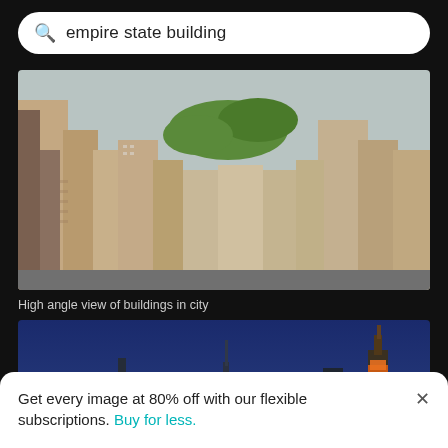empire state building
[Figure (photo): High angle aerial view of Manhattan buildings and skyscrapers in New York City, with green trees visible in the distance]
High angle view of buildings in city
[Figure (photo): Night skyline of New York City with illuminated skyscrapers including the Empire State Building lit in orange against a deep blue dusk sky]
Get every image at 80% off with our flexible subscriptions. Buy for less.